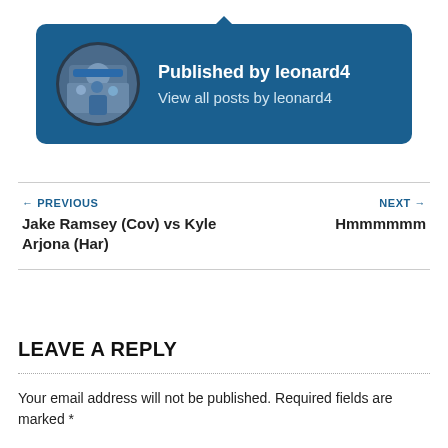[Figure (other): Author card with circular avatar photo of leonard4 wearing a blue cap, on a dark blue rounded rectangle background with tooltip arrow at top]
Published by leonard4
View all posts by leonard4
← PREVIOUS
Jake Ramsey (Cov) vs Kyle Arjona (Har)
NEXT →
Hmmmmmm
LEAVE A REPLY
Your email address will not be published. Required fields are marked *